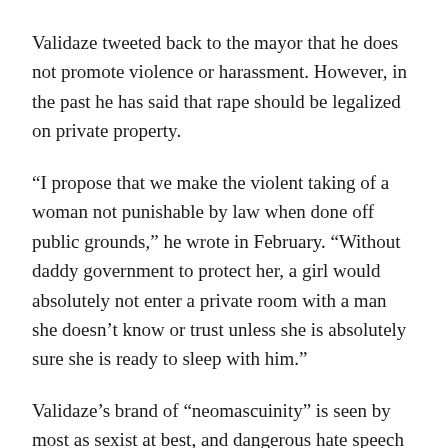Validaze tweeted back to the mayor that he does not promote violence or harassment. However, in the past he has said that rape should be legalized on private property.
“I propose that we make the violent taking of a woman not punishable by law when done off public grounds,” he wrote in February. “Without daddy government to protect her, a girl would absolutely not enter a private room with a man she doesn’t know or trust unless she is absolutely sure she is ready to sleep with him.”
Validaze’s brand of “neomascuinity” is seen by most as sexist at best, and dangerous hate speech at worst.
The location of his lecture on Saturday, the last stop on a six city tour that also included Berlin, London